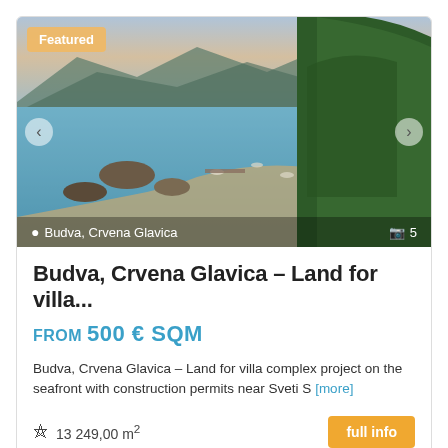[Figure (photo): Aerial drone view of Budva, Crvena Glavica coastline with blue sea, rocky islands, sandy beach, and green forested hills in Montenegro. A 'Featured' badge is in the top-left corner. Navigation arrows on left and right. Bottom overlay shows location 'Budva, Crvena Glavica' and photo count '5'.]
Budva, Crvena Glavica – Land for villa...
FROM 500 € SQM
Budva, Crvena Glavica – Land for villa complex project on the seafront with construction permits near Sveti S [more]
13 249,00 m²